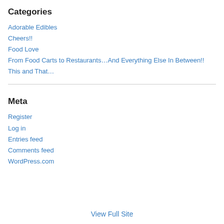Categories
Adorable Edibles
Cheers!!
Food Love
From Food Carts to Restaurants…And Everything Else In Between!!
This and That…
Meta
Register
Log in
Entries feed
Comments feed
WordPress.com
View Full Site